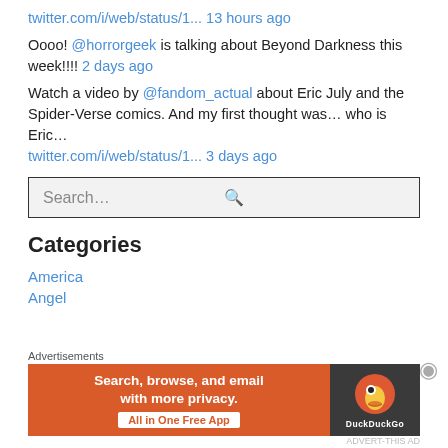twitter.com/i/web/status/1... 13 hours ago
Oooo! @horrorgeek is talking about Beyond Darkness this week!!!! 2 days ago
Watch a video by @fandom_actual about Eric July and the Spider-Verse comics. And my first thought was… who is Eric... twitter.com/i/web/status/1... 3 days ago
[Figure (screenshot): Search input box with placeholder text 'Search...' and a magnifying glass icon on the right]
Categories
America
Angel
Advertisements
[Figure (screenshot): DuckDuckGo advertisement banner: orange section with text 'Search, browse, and email with more privacy. All in One Free App' and dark section with DuckDuckGo duck logo]